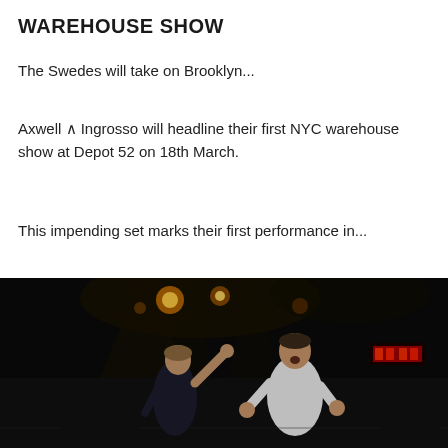WAREHOUSE SHOW
The Swedes will take on Brooklyn...
Axwell ∧ Ingrosso will headline their first NYC warehouse show at Depot 52 on 18th March.
This impending set marks their first performance in...
[Figure (photo): Two performers on a dark stage with dramatic stage lighting. A woman in dark clothing raises her arm on the left, and a man in a white t-shirt stands on the right. Stage lights and red LED displays are visible in the background.]